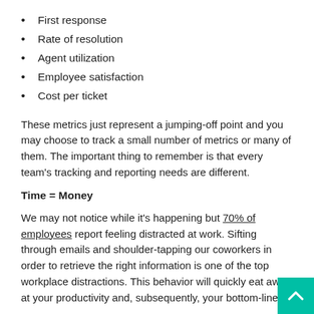First response
Rate of resolution
Agent utilization
Employee satisfaction
Cost per ticket
These metrics just represent a jumping-off point and you may choose to track a small number of metrics or many of them. The important thing to remember is that every team's tracking and reporting needs are different.
Time = Money
We may not notice while it's happening but 70% of employees report feeling distracted at work. Sifting through emails and shoulder-tapping our coworkers in order to retrieve the right information is one of the top workplace distractions. This behavior will quickly eat away at your productivity and, subsequently, your bottom-line
That's where ticketing software comes in: less time will be wasted